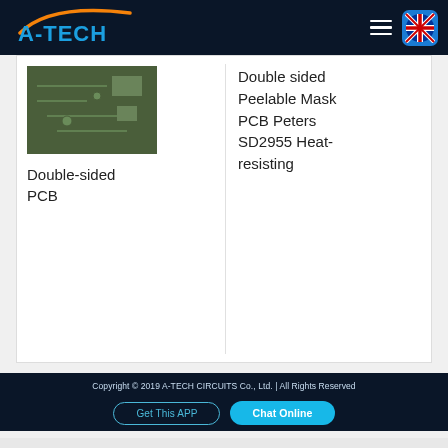[Figure (logo): A-TECH logo with orange arc and blue text on dark header background]
Double-sided PCB
Double sided Peelable Mask PCB Peters SD2955 Heat-resisting
Copyright © 2019 A-TECH CIRCUITS Co., Ltd. | All Rights Reserved
Get This APP
Chat Online